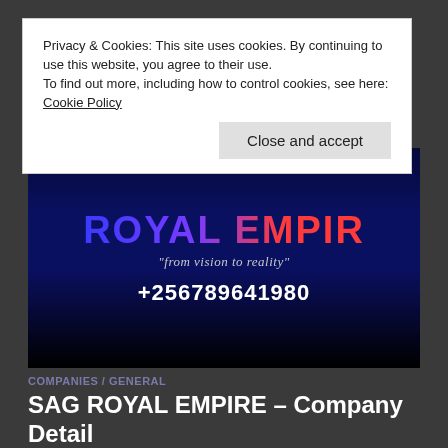Privacy & Cookies: This site uses cookies. By continuing to use this website, you agree to their use.
To find out more, including how to control cookies, see here: Cookie Policy
Close and accept
[Figure (photo): Dark banner image showing 'ROYAL EMPIRE' text in large blue/red gradient letters, with tagline '"from vision to reality"' and phone number '+256789641980' below]
COMPANIES / GENERAL
SAG ROYAL EMPIRE – Company Detail
SAG ROYAL MUSIC We have the Leading Audio, Video & Music Management House. ♡Music Programming. We do; ☆General Music Recording, ☆Afro Beat Trucks, ☆R N B Trucks, ☆Raga Music Trucks, ☆Reggae Trucks,